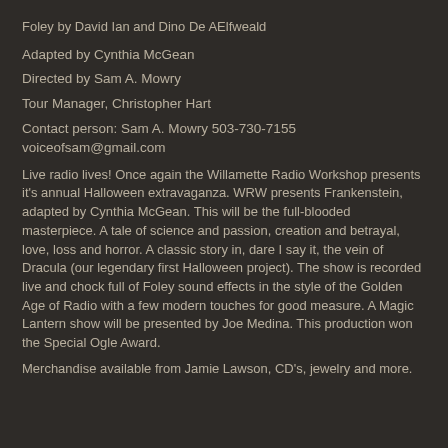Foley by David Ian and Dino De AElfweald
Adapted by Cynthia McGean
Directed by Sam A. Mowry
Tour Manager, Christopher Hart
Contact person: Sam A. Mowry 503-730-7155
voiceofsam@gmail.com
Live radio lives! Once again the Willamette Radio Workshop presents it's annual Halloween extravaganza. WRW presents Frankenstein, adapted by Cynthia McGean. This will be the full-blooded masterpiece. A tale of science and passion, creation and betrayal, love, loss and horror. A classic story in, dare I say it, the vein of Dracula (our legendary first Halloween project). The show is recorded live and chock full of Foley sound effects in the style of the Golden Age of Radio with a few modern touches for good measure. A Magic Lantern show will be presented by Joe Medina. This production won the Special Ogle Award.
Merchandise available from Jamie Lawson, CD's, jewelry and more.